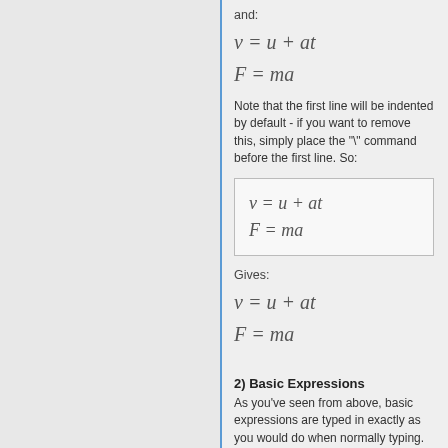and:
Note that the first line will be indented by default - if you want to remove this, simply place the "\" command before the first line. So:
[Figure (other): Boxed code block containing two math formulas: v = u + at and F = ma]
Gives:
2) Basic Expressions
As you've seen from above, basic expressions are typed in exactly as you would do when normally typing. You